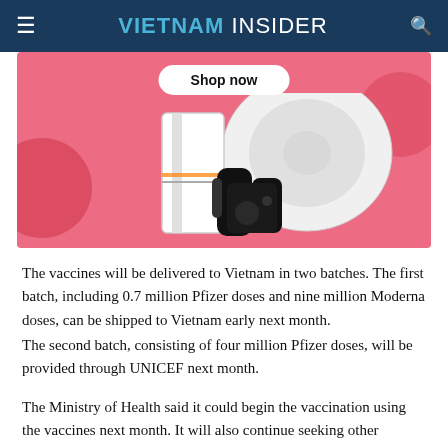VIETNAM INSIDER
[Figure (photo): Advertisement banner with pink background showing 'Shop now' button and electronic products including a robot vacuum, smartphone, and Nintendo Switch controller]
The vaccines will be delivered to Vietnam in two batches. The first batch, including 0.7 million Pfizer doses and nine million Moderna doses, can be shipped to Vietnam early next month.
The second batch, consisting of four million Pfizer doses, will be provided through UNICEF next month.
The Ministry of Health said it could begin the vaccination using the vaccines next month. It will also continue seeking other vaccine